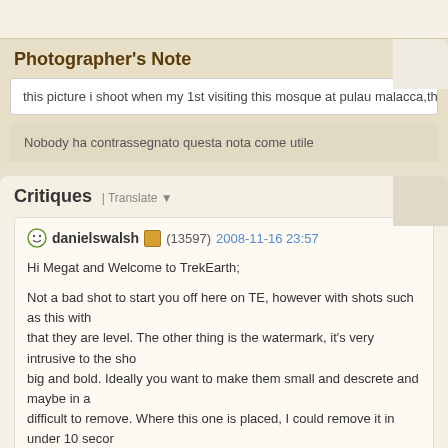Photographer's Note
this picture i shoot when my 1st visiting this mosque at pulau malacca,the suns
Nobody ha contrassegnato questa nota come utile
Critiques | Translate
danielswalsh (13597) 2008-11-16 23:57
Hi Megat and Welcome to TrekEarth;

Not a bad shot to start you off here on TE, however with shots such as this with that they are level. The other thing is the watermark, it's very intrusive to the sho big and bold. Ideally you want to make them small and descrete and maybe in a difficult to remove. Where this one is placed, I could remove it in under 10 secor

All the best,
- Dan